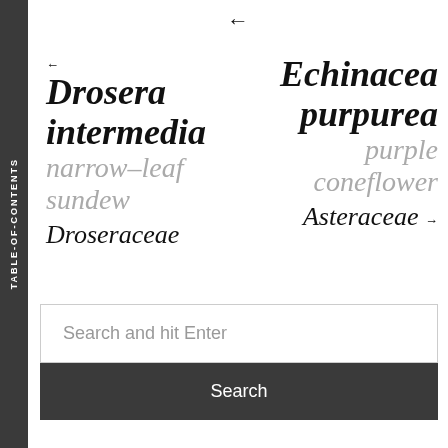←
← Drosera intermedia
narrow-leaf sundew
Droseraceae
Echinacea purpurea
purple coneflower
Asteraceae →
Search and hit Enter
Search
TABLE-OF-CONTENTS